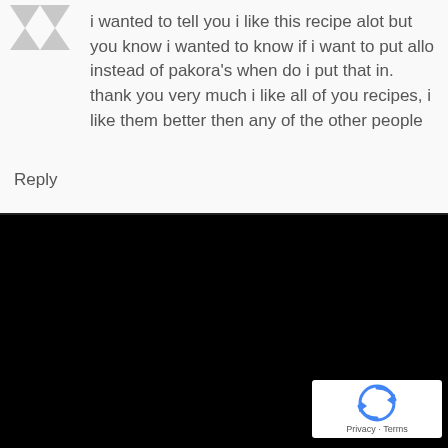[Figure (illustration): Generic grey user avatar icon at top left]
i wanted to tell you i like this recipe alot but you know i wanted to know if i want to put allo instead of pakora's when do i put that in. thank you very much i like all of you recipes, i like them better then any of the other people
Reply
[Figure (other): Black background section (video or embed area)]
[Figure (logo): reCAPTCHA badge with Privacy and Terms links]